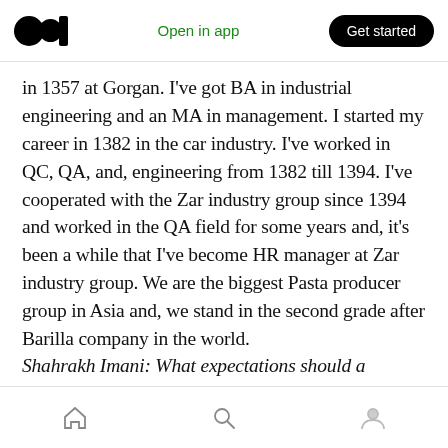Open in app | Get started
in 1357 at Gorgan. I've got BA in industrial engineering and an MA in management. I started my career in 1382 in the car industry. I've worked in QC, QA, and, engineering from 1382 till 1394. I've cooperated with the Zar industry group since 1394 and worked in the QA field for some years and, it's been a while that I've become HR manager at Zar industry group. We are the biggest Pasta producer group in Asia and, we stand in the second grade after Barilla company in the world.
Shahrakh Imani: What expectations should a
Home | Search | Profile